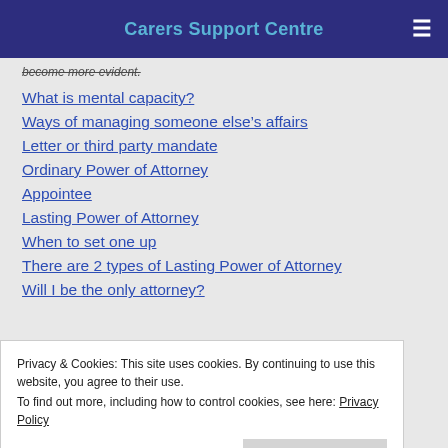Carers Support Centre
become more evident.
What is mental capacity?
Ways of managing someone else's affairs
Letter or third party mandate
Ordinary Power of Attorney
Appointee
Lasting Power of Attorney
When to set one up
There are 2 types of Lasting Power of Attorney
Will I be the only attorney?
Privacy & Cookies: This site uses cookies. By continuing to use this website, you agree to their use. To find out more, including how to control cookies, see here: Privacy Policy
Advance Decisions (sometimes known as a Living